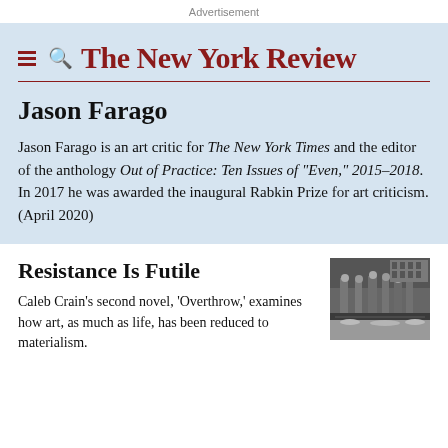Advertisement
The New York Review
Jason Farago
Jason Farago is an art critic for The New York Times and the editor of the anthology Out of Practice: Ten Issues of “Even,” 2015–2018. In 2017 he was awarded the inaugural Rabkin Prize for art criticism. (April 2020)
Resistance Is Futile
Caleb Crain’s second novel, ‘Overthrow,’ examines how art, as much as life, has been reduced to materialism.
[Figure (photo): Black and white historical photograph showing a crowd of people in a wintry urban setting]